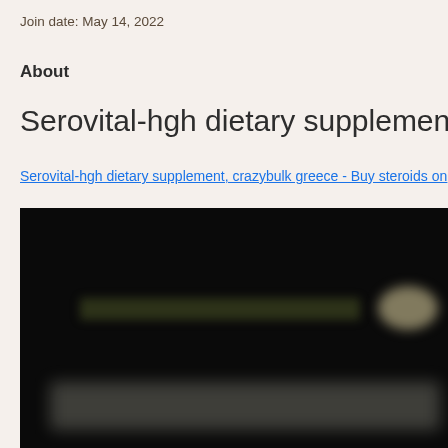Join date: May 14, 2022
About
Serovital-hgh dietary supplement, crazyb
Serovital-hgh dietary supplement, crazybulk greece - Buy steroids on
[Figure (screenshot): A blurred dark/black screenshot of a website, partially showing a navigation bar with a logo area on the right side and some blurred text at the bottom of the image.]